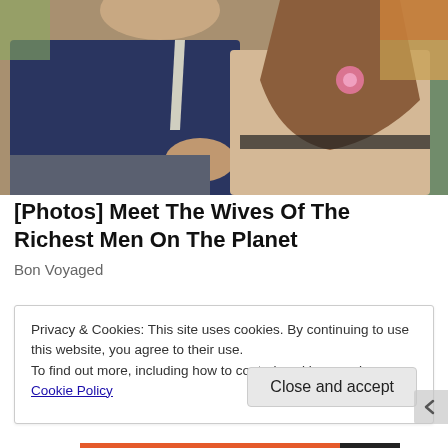[Figure (photo): Photo of a man in a dark suit with a light tie and a woman in a beige lace outfit with a pink flower, seated side by side at what appears to be a sporting event]
[Photos] Meet The Wives Of The Richest Men On The Planet
Bon Voyaged
Privacy & Cookies: This site uses cookies. By continuing to use this website, you agree to their use.
To find out more, including how to control cookies, see here: Cookie Policy
Close and accept